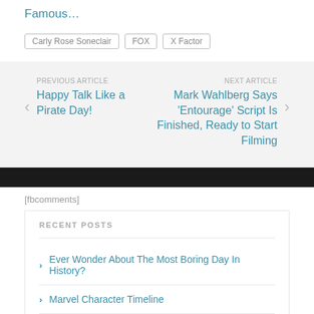Famous…
Carly Rose Soneclair
FOX
X Factor
PREVIOUS ARTICLE
Happy Talk Like a Pirate Day!
NEXT ARTICLE
Mark Wahlberg Says 'Entourage' Script Is Finished, Ready to Start Filming
[fbcomments]
RECENT POSTS
Ever Wonder About The Most Boring Day In History?
Marvel Character Timeline